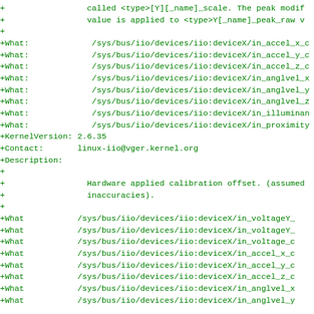+                 called <type>[Y][_name]_scale. The peak modif
+                 value is applied to <type>Y[_name]_peak_raw v
+
+What:             /sys/bus/iio/devices/iio:deviceX/in_accel_x_c
+What:             /sys/bus/iio/devices/iio:deviceX/in_accel_y_c
+What:             /sys/bus/iio/devices/iio:deviceX/in_accel_z_c
+What:             /sys/bus/iio/devices/iio:deviceX/in_anglvel_x
+What:             /sys/bus/iio/devices/iio:deviceX/in_anglvel_y
+What:             /sys/bus/iio/devices/iio:deviceX/in_anglvel_z
+What:             /sys/bus/iio/devices/iio:deviceX/in_illuminan
+What:             /sys/bus/iio/devices/iio:deviceX/in_proximity
+KernelVersion: 2.6.35
+Contact:       linux-iio@vger.kernel.org
+Description:
+
+                 Hardware applied calibration offset. (assumed
+                 inaccuracies).
+
+What           /sys/bus/iio/devices/iio:deviceX/in_voltageY_
+What           /sys/bus/iio/devices/iio:deviceX/in_voltageY_
+What           /sys/bus/iio/devices/iio:deviceX/in_voltage_c
+What           /sys/bus/iio/devices/iio:deviceX/in_accel_x_c
+What           /sys/bus/iio/devices/iio:deviceX/in_accel_y_c
+What           /sys/bus/iio/devices/iio:deviceX/in_accel_z_c
+What           /sys/bus/iio/devices/iio:deviceX/in_anglvel_x
+What           /sys/bus/iio/devices/iio:deviceX/in_anglvel_y